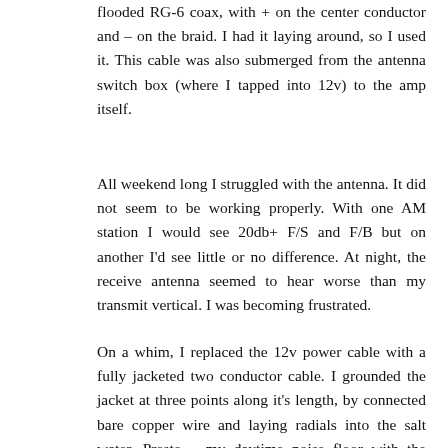flooded RG-6 coax, with + on the center conductor and – on the braid. I had it laying around, so I used it. This cable was also submerged from the antenna switch box (where I tapped into 12v) to the amp itself.
All weekend long I struggled with the antenna. It did not seem to be working properly. With one AM station I would see 20db+ F/S and F/B but on another I'd see little or no difference. At night, the receive antenna seemed to hear worse than my transmit vertical. I was becoming frustrated.
On a whim, I replaced the 12v power cable with a fully jacketed two conductor cable. I grounded the jacket at three points along it's length, by connected bare copper wire and laying radials into the salt water. Presto – my daytime noise floor with the amplifier on went from S8 to S5, an 18dB decrease in noise. Last night, for the first time, I was hearing exceptionally well with the receive only antenna. On 160m, G4ZCG was even with the noise floor on my transmit antenna (S9). On the receive antenna, without the amplifier energized, he was much weaker but still perfect copy with no background noise. Later I was